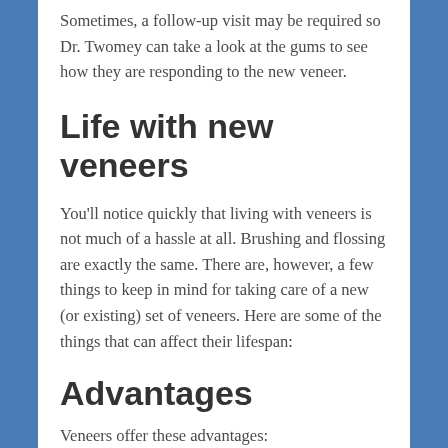Sometimes, a follow-up visit may be required so Dr. Twomey can take a look at the gums to see how they are responding to the new veneer.
Life with new veneers
You'll notice quickly that living with veneers is not much of a hassle at all. Brushing and flossing are exactly the same. There are, however, a few things to keep in mind for taking care of a new (or existing) set of veneers. Here are some of the things that can affect their lifespan:
Advantages
Veneers offer these advantages:
They look just like your natural teeth.
Shading, as well as texture, are matched to